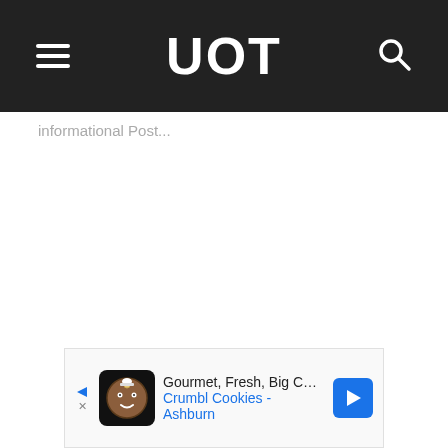UOT
informational Post...
[Figure (other): Advertisement banner: Gourmet, Fresh, Big Cookies — Crumbl Cookies - Ashburn]